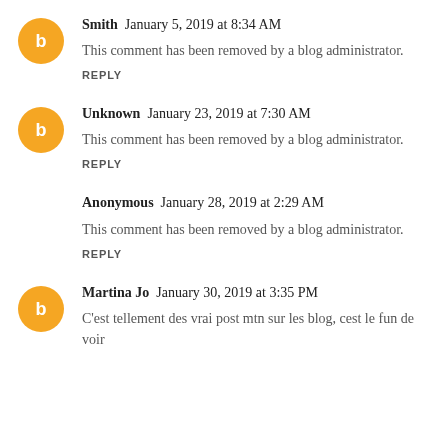Smith January 5, 2019 at 8:34 AM
This comment has been removed by a blog administrator.
REPLY
Unknown January 23, 2019 at 7:30 AM
This comment has been removed by a blog administrator.
REPLY
Anonymous January 28, 2019 at 2:29 AM
This comment has been removed by a blog administrator.
REPLY
Martina Jo January 30, 2019 at 3:35 PM
C'est tellement des vrai post mtn sur les blog, cest le fun de voir